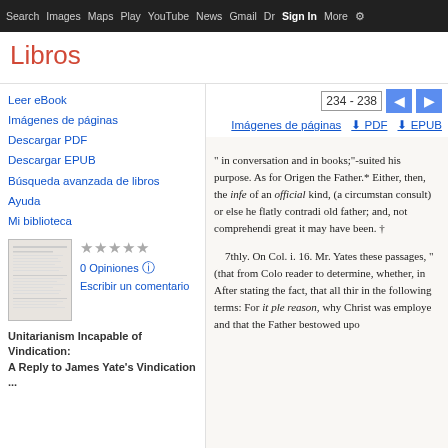Search Images Maps Play YouTube News Gmail Dr Sign In More ⚙
Libros
234 - 238
Imágenes de páginas  PDF  EPUB
Leer eBook
Imágenes de páginas
Descargar PDF
Descargar EPUB
Búsqueda avanzada de libros
Ayuda
Mi biblioteca
[Figure (illustration): Book thumbnail preview image]
0 Opiniones
Escribir un comentario
Unitarianism Incapable of Vindication: A Reply to James Yate's Vindication ...
" in conversation and in books;"-suited his purpose. As for Origen the Father.* Either, then, the infe of an official kind, (a circumstan consult) or else he flatly contradi old father; and, not comprehendi great it may have been. †

7thly. On Col. i. 16. Mr. Yates these passages, " (that from Colo reader to determine, whether, in After stating the fact, that all thir in the following terms: For it ple reason, why Christ was employe and that the Father bestowed upo